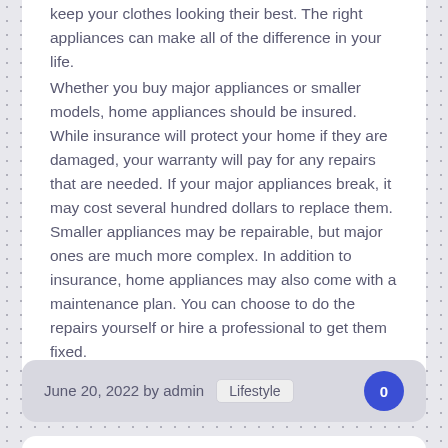keep your clothes looking their best. The right appliances can make all of the difference in your life.

Whether you buy major appliances or smaller models, home appliances should be insured. While insurance will protect your home if they are damaged, your warranty will pay for any repairs that are needed. If your major appliances break, it may cost several hundred dollars to replace them. Smaller appliances may be repairable, but major ones are much more complex. In addition to insurance, home appliances may also come with a maintenance plan. You can choose to do the repairs yourself or hire a professional to get them fixed.
June 20, 2022 by admin  Lifestyle